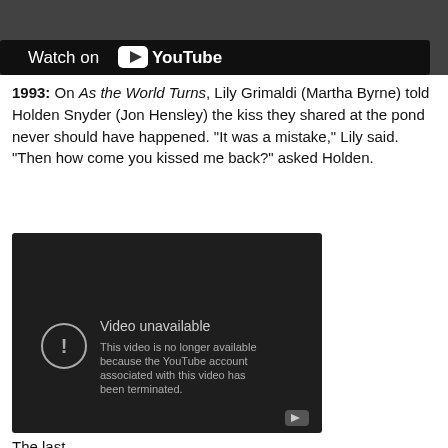[Figure (screenshot): YouTube video thumbnail with dark overlay showing 'Watch on YouTube' button with YouTube logo]
1993: On As the World Turns, Lily Grimaldi (Martha Byrne) told Holden Snyder (Jon Hensley) the kiss they shared at the pond never should have happened. "It was a mistake," Lily said. "Then how come you kissed me back?" asked Holden.
[Figure (screenshot): YouTube embedded video player showing 'Video unavailable' error message: 'This video is no longer available because the YouTube account associated with this video has been terminated.']